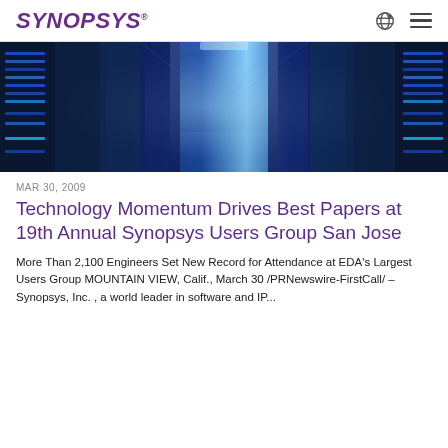SYNOPSYS
[Figure (photo): Data center corridor with server racks lit in blue tones, perspective view showing a long aisle between server cabinets with glowing blue lights.]
MAR 30, 2009
Technology Momentum Drives Best Papers at 19th Annual Synopsys Users Group San Jose
More Than 2,100 Engineers Set New Record for Attendance at EDA's Largest Users Group MOUNTAIN VIEW, Calif., March 30 /PRNewswire-FirstCall/ – Synopsys, Inc. , a world leader in software and IP...